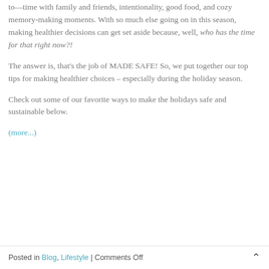to—time with family and friends, intentionality, good food, and cozy memory-making moments. With so much else going on in this season, making healthier decisions can get set aside because, well, who has the time for that right now?!
The answer is, that's the job of MADE SAFE! So, we put together our top tips for making healthier choices – especially during the holiday season.
Check out some of our favorite ways to make the holidays safe and sustainable below.
(more...)
Posted in Blog, Lifestyle | Comments Off